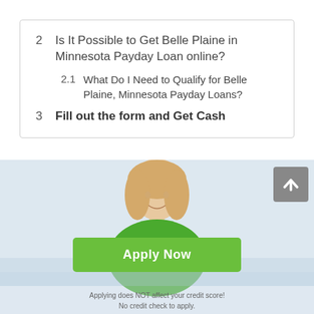2  Is It Possible to Get Belle Plaine in Minnesota Payday Loan online?
2.1  What Do I Need to Qualify for Belle Plaine, Minnesota Payday Loans?
3  Fill out the form and Get Cash
[Figure (photo): Smiling blonde woman in green shirt overlaid on a light blue background section with an Apply Now green button and a scroll-to-top grey button in the upper right corner]
Apply Now
Applying does NOT affect your credit score!
No credit check to apply.